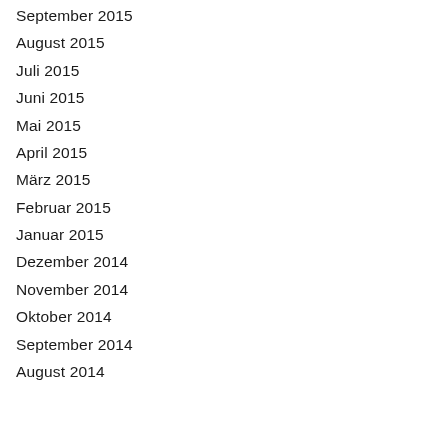September 2015
August 2015
Juli 2015
Juni 2015
Mai 2015
April 2015
März 2015
Februar 2015
Januar 2015
Dezember 2014
November 2014
Oktober 2014
September 2014
August 2014